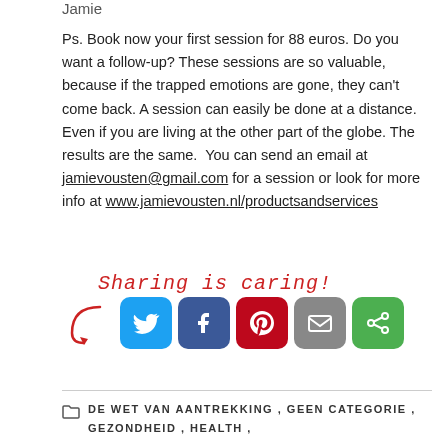Jamie
Ps. Book now your first session for 88 euros. Do you want a follow-up? These sessions are so valuable, because if the trapped emotions are gone, they can't come back. A session can easily be done at a distance. Even if you are living at the other part of the globe. The results are the same.  You can send an email at jamievousten@gmail.com for a session or look for more info at www.jamievousten.nl/productsandservices
[Figure (infographic): Sharing is caring! social sharing buttons: Twitter (blue), Facebook (dark blue), Pinterest (red), Email (grey), More sharing (green), with a red curly arrow pointing to the icons]
DE WET VAN AANTREKKING , GEEN CATEGORIE , GEZONDHEID , HEALTH ,